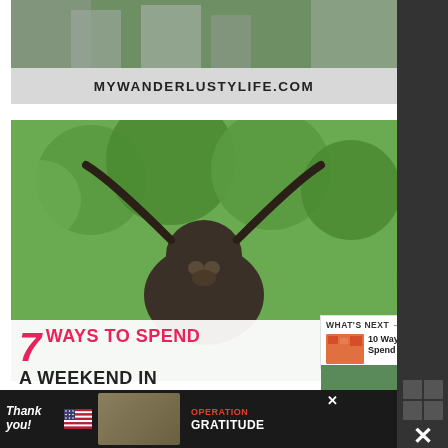[Figure (photo): Aerial view of a city with buildings and trees]
MYWANDERLUSTYLIFE.COM
[Figure (photo): Bronze longhorn bull statue in front of green trees]
[Figure (infographic): 7 Ways to Spend a Weekend In overlay title on photo]
[Figure (screenshot): What's Next panel: 10 Ways to Spend a Day...]
[Figure (photo): Advertisement bar: Thank you with Operation Gratitude logo]